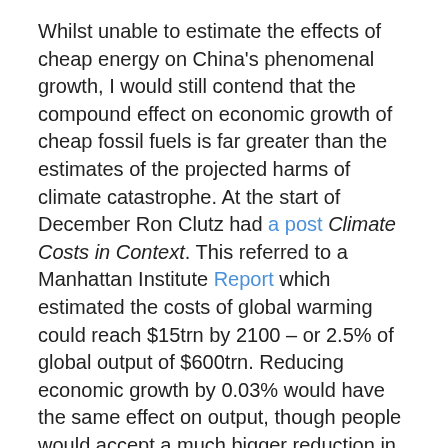Whilst unable to estimate the effects of cheap energy on China's phenomenal growth, I would still contend that the compound effect on economic growth of cheap fossil fuels is far greater than the estimates of the projected harms of climate catastrophe. At the start of December Ron Clutz had a post Climate Costs in Context. This referred to a Manhattan Institute Report which estimated the costs of global warming could reach $15trn by 2100 – or 2.5% of global output of $600trn. Reducing economic growth by 0.03% would have the same effect on output, though people would accept a much bigger reduction in growth to avoid 2.5% costs of catastrophes.
This leads to a bigger issue, that it not discussed. Suppose an economy like Canada with 1.5% of global emissions, unilaterally imposed a policy from January 1st 2017 that was guaranteed to reduce emissions by 90% by